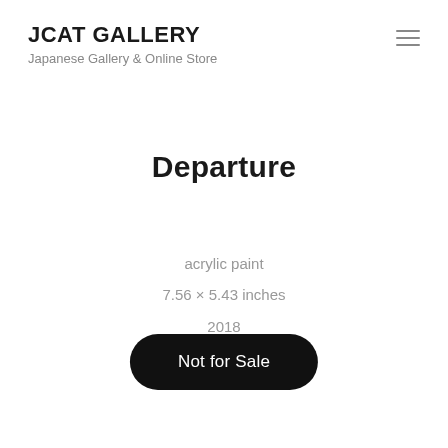JCAT GALLERY
Japanese Gallery & Online Store
Departure
acrylic paint
7.56 × 5.43 inches
2018
(without frame)
Not for Sale